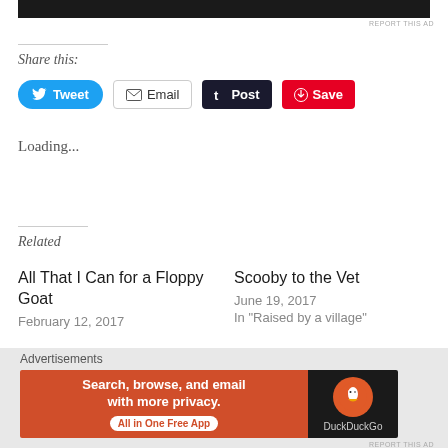[Figure (screenshot): Black bar at top representing an advertisement or image header]
REPORT THIS AD
Share this:
[Figure (infographic): Social sharing buttons: Tweet (blue), Email (outlined), Post (dark), Save (red)]
Loading...
Related
All That I Can for a Floppy Goat
February 12, 2017
Scooby to the Vet
June 19, 2017
In "Raised by a village"
Advertisements
[Figure (screenshot): DuckDuckGo advertisement banner: orange left side with text 'Search, browse, and email with more privacy. All in One Free App' and dark right side with DuckDuckGo duck logo]